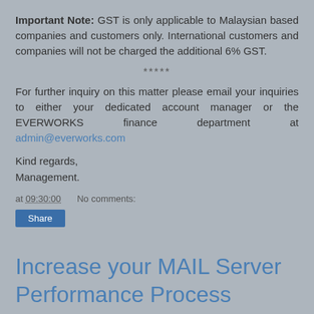Important Note: GST is only applicable to Malaysian based companies and customers only. International customers and companies will not be charged the additional 6% GST.
*****
For further inquiry on this matter please email your inquiries to either your dedicated account manager or the EVERWORKS finance department at admin@everworks.com
Kind regards,
Management.
at 09:30:00   No comments:
Share
Increase your MAIL Server Performance Process